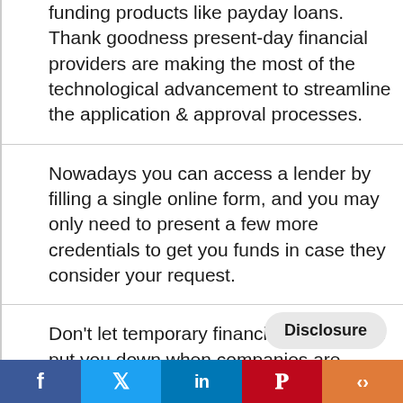funding products like payday loans. Thank goodness present-day financial providers are making the most of the technological advancement to streamline the application & approval processes.
Nowadays you can access a lender by filling a single online form, and you may only need to present a few more credentials to get you funds in case they consider your request.
Don't let temporary financial catastrophe put you down when companies are willing to offer instant support. In fact, if you can get you money as soon as on the same day if you apply on a weekday.